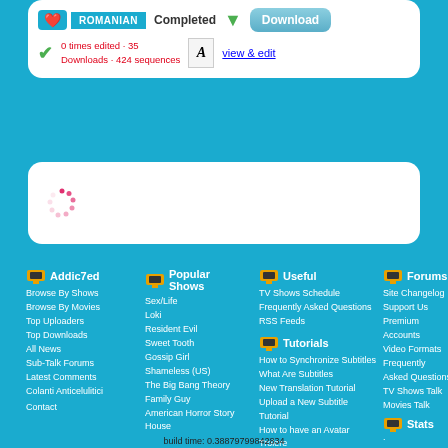ROMANIAN
Completed
Download
0 times edited · 35 Downloads · 424 sequences
view & edit
[Figure (infographic): Loading spinner animation (red dots in circular pattern)]
Addic7ed
Browse By Shows
Browse By Movies
Top Uploaders
Top Downloads
All News
Sub-Talk Forums
Latest Comments
Colanti Anticelulitici
Contact
Popular Shows
Sex/Life
Loki
Resident Evil
Sweet Tooth
Gossip Girl
Shameless (US)
The Big Bang Theory
Family Guy
American Horror Story
House
Useful
TV Shows Schedule
Frequently Asked Questions
RSS Feeds
Tutorials
How to Synchronize Subtitles
What Are Subtitles
New Translation Tutorial
Upload a New Subtitle Tutorial
How to have an Avatar
Trolere
Forums
Site Changelog
Support Us
Premium Accounts
Video Formats
Frequently Asked Questions
TV Shows Talk
Movies Talk
Stats
build time: 0.38879799842834